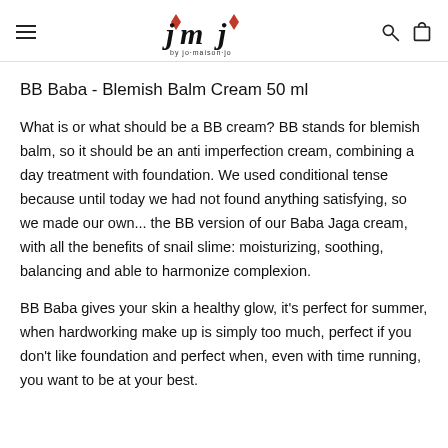JMJ by jo maison jo
BB Baba - Blemish Balm Cream 50 ml
What is or what should be a BB cream? BB stands for blemish balm, so it should be an anti imperfection cream, combining a day treatment with foundation. We used conditional tense because until today we had not found anything satisfying, so we made our own... the BB version of our Baba Jaga cream, with all the benefits of snail slime: moisturizing, soothing, balancing and able to harmonize complexion.
BB Baba gives your skin a healthy glow, it's perfect for summer, when hardworking make up is simply too much, perfect if you don't like foundation and perfect when, even with time running, you want to be at your best.